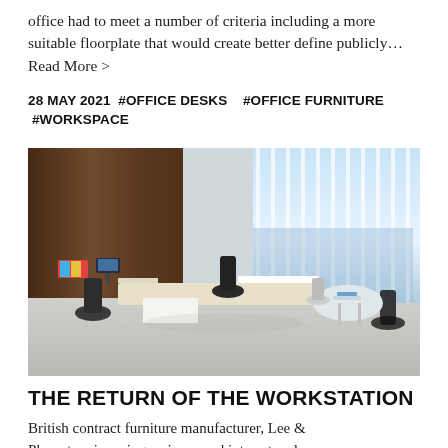office had to meet a number of criteria including a more suitable floorplate that would create better define publicly... Read More >
28 MAY 2021  #OFFICE DESKS    #OFFICE FURNITURE  #WORKSPACE
[Figure (photo): Photo of a modern open-plan office interior with workstations, office chairs, a wooden feature wall on the left, large floor-to-ceiling windows with vertical blinds on the right, and a city view in the background.]
THE RETURN OF THE WORKSTATION
British contract furniture manufacturer, Lee & Plumpton, is seeing an increased interest and